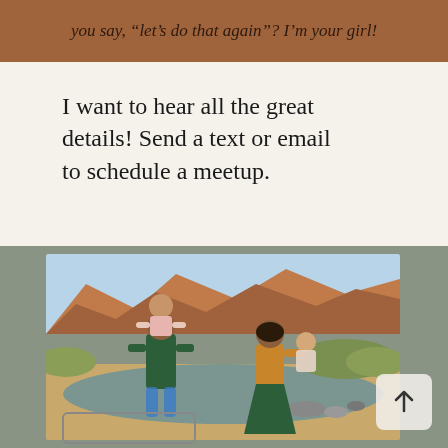you say, “let’s do that again”? I’m your girl!
I want to hear all the great details! Send a text or email to schedule a meetup.
[Figure (photo): Family of four standing outdoors near a river with red rock cliffs in the background. A man carries a young girl on his shoulders while a woman holds a toddler. Warm golden light, desert landscape.]